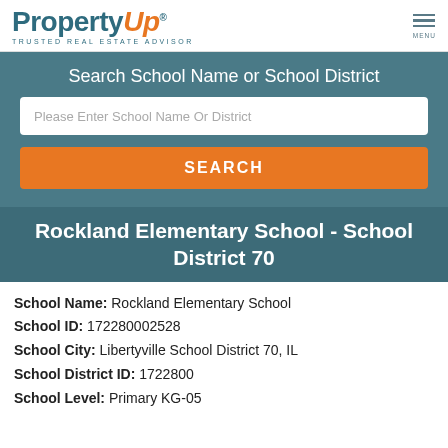PropertyUp® TRUSTED REAL ESTATE ADVISOR
Search School Name or School District
Please Enter School Name Or District
SEARCH
Rockland Elementary School - School District 70
School Name: Rockland Elementary School
School ID: 172280002528
School City: Libertyville School District 70, IL
School District ID: 1722800
School Level: Primary KG-05